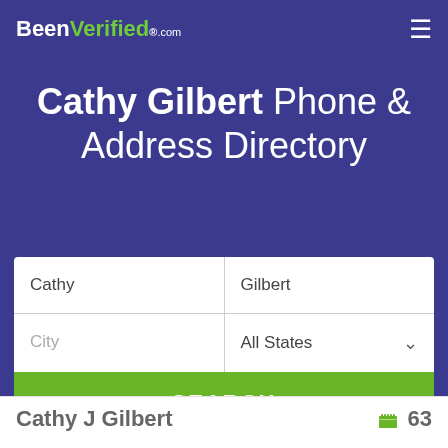BeenVerified.com
Cathy Gilbert Phone & Address Directory
[Figure (screenshot): Search form with fields: Cathy, Gilbert, City, All States dropdown, and SEARCH button]
Cathy J Gilbert  63